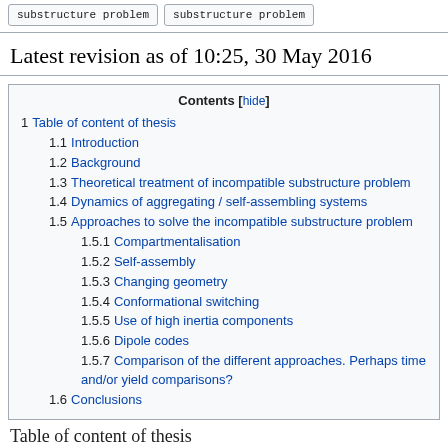substructure problem   substructure problem
Latest revision as of 10:25, 30 May 2016
| Contents [hide] |
| --- |
| 1  Table of content of thesis |
| 1.1  Introduction |
| 1.2  Background |
| 1.3  Theoretical treatment of incompatible substructure problem |
| 1.4  Dynamics of aggregating / self-assembling systems |
| 1.5  Approaches to solve the incompatible substructure problem |
| 1.5.1  Compartmentalisation |
| 1.5.2  Self-assembly |
| 1.5.3  Changing geometry |
| 1.5.4  Conformational switching |
| 1.5.5  Use of high inertia components |
| 1.5.6  Dipole codes |
| 1.5.7  Comparison of the different approaches. Perhaps time and/or yield comparisons? |
| 1.6  Conclusions |
Table of content of thesis